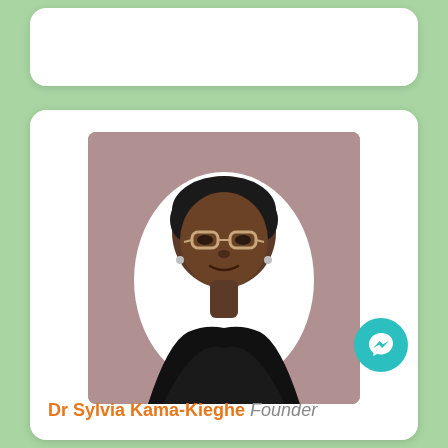[Figure (photo): Profile photo of Dr Sylvia Kama-Kieghe on a mauve/dusty rose background, woman with short dark hair, glasses, earrings, wearing a black top]
Dr Sylvia Kama-Kieghe Founder